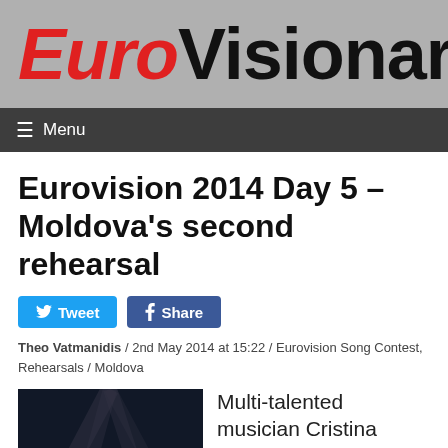EuroVisionary
≡ Menu
Eurovision 2014 Day 5 – Moldova's second rehearsal
[Figure (other): Tweet and Share social media buttons]
Theo Vatmanidis / 2nd May 2014 at 15:22 / Eurovision Song Contest, Rehearsals / Moldova
[Figure (photo): Stage photo of performer with blonde hair singing at a dark concert stage with lighting effects]
Multi-talented musician Cristina Scarlat will be rehearsing Moldovan entry